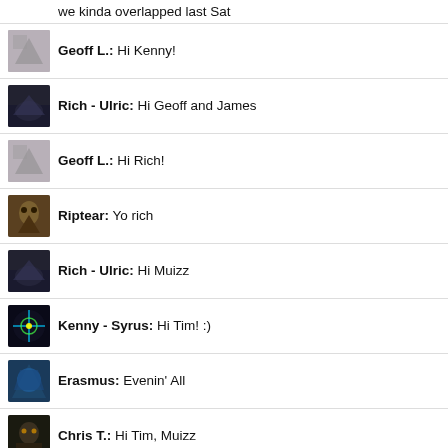we kinda overlapped last Sat
Geoff L.: Hi Kenny!
Rich - Ulric: Hi Geoff and James
Geoff L.: Hi Rich!
Riptear: Yo rich
Rich - Ulric: Hi Muizz
Kenny - Syrus: Hi Tim! :)
Erasmus: Evenin' All
Chris T.: Hi Tim, Muizz
Rich - Ulric: Hi mate
Simon N. (GM): @James check your token is ok
Chris T.: Evening Keelia ;)
Qiviel: Good evening, everyone :)
WhiteValyrian: Hello Everyone